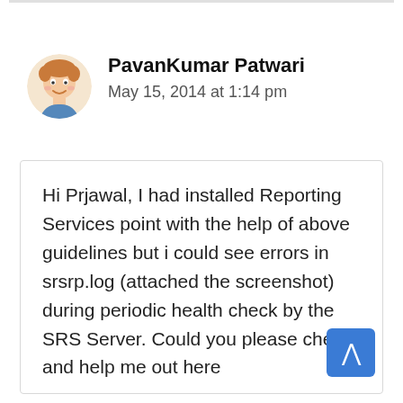PavanKumar Patwari
May 15, 2014 at 1:14 pm
Hi Prjawal, I had installed Reporting Services point with the help of above guidelines but i could see errors in srsrp.log (attached the screenshot) during periodic health check by the SRS Server. Could you please check and help me out here